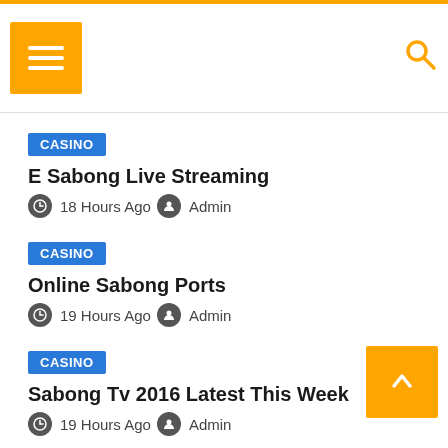Menu / Search header
CASINO | E Sabong Live Streaming | 18 Hours Ago | Admin
CASINO | Online Sabong Ports | 19 Hours Ago | Admin
CASINO | Sabong Tv 2016 Latest This Week | 19 Hours Ago | Admin
CASINO | Sabong Live Sign Up | 19 Hours Ago | Admin